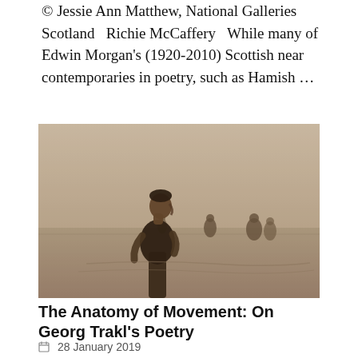© Jessie Ann Matthew, National Galleries Scotland   Richie McCaffery   While many of Edwin Morgan's (1920-2010) Scottish near contemporaries in poetry, such as Hamish …
[Figure (photo): Sepia-toned historical photograph of a young man in a sleeveless swimsuit standing in shallow water at a beach, with other people wading in the background.]
The Anatomy of Movement: On Georg Trakl's Poetry
28 January 2019